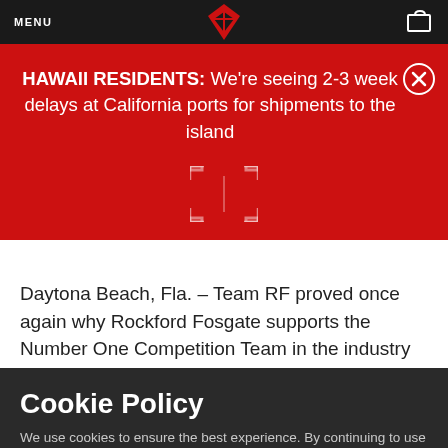MENU
HAWAII RESIDENTS: We're seeing 2-3 week delays at California ports for shipments to the island
Daytona Beach, Fla. – Team RF proved once again why Rockford Fosgate supports the Number One Competition Team in the industry by dominating the first major 2003 final
Cookie Policy
We use cookies to ensure the best experience. By continuing to use this site, you agree to our Privacy Policy.
ACCEPT
LET ME CHOOSE